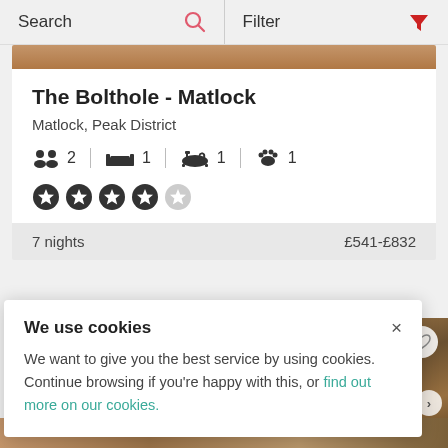Search    Filter
The Bolthole - Matlock
Matlock, Peak District
2  |  1  |  1  |  1
4 out of 5 stars
7 nights    £541-£832
We use cookies
We want to give you the best service by using cookies. Continue browsing if you're happy with this, or find out more on our cookies.